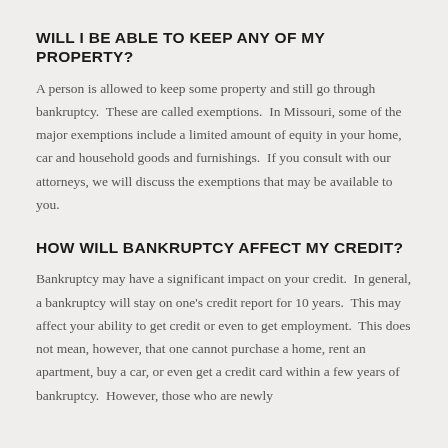WILL I BE ABLE TO KEEP ANY OF MY PROPERTY?
A person is allowed to keep some property and still go through bankruptcy.  These are called exemptions.  In Missouri, some of the major exemptions include a limited amount of equity in your home, car and household goods and furnishings.  If you consult with our attorneys, we will discuss the exemptions that may be available to you.
HOW WILL BANKRUPTCY AFFECT MY CREDIT?
Bankruptcy may have a significant impact on your credit.  In general, a bankruptcy will stay on one's credit report for 10 years.  This may affect your ability to get credit or even to get employment.  This does not mean, however, that one cannot purchase a home, rent an apartment, buy a car, or even get a credit card within a few years of bankruptcy.  However, those who are newly…